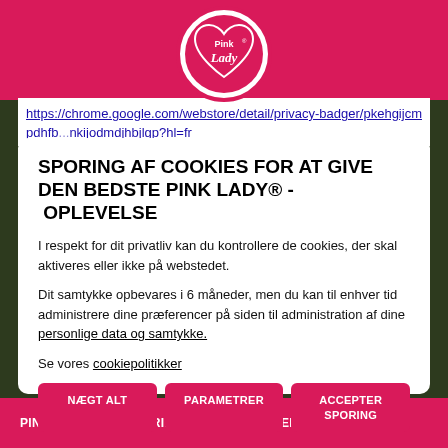[Figure (logo): Pink Lady brand logo — white heart with pink background and script text]
https://chrome.google.com/webstore/detail/privacy-badger/pkehgijcmpdhfbcdnkijodmdjhbjlgp?hl=fr
SPORING AF COOKIES FOR AT GIVE DEN BEDSTE PINK LADY® - OPLEVELSE
I respekt for dit privatliv kan du kontrollere de cookies, der skal aktiveres eller ikke på webstedet.
Dit samtykke opbevares i 6 måneder, men du kan til enhver tid administrere dine præferencer på siden til administration af dine personlige data og samtykke.
Se vores cookiepolitikker
NÆGT ALT
PARAMETRER
ACCEPTER SPORING
PINK LADY®   OPSKRIFTER   ENGAGEMENTER